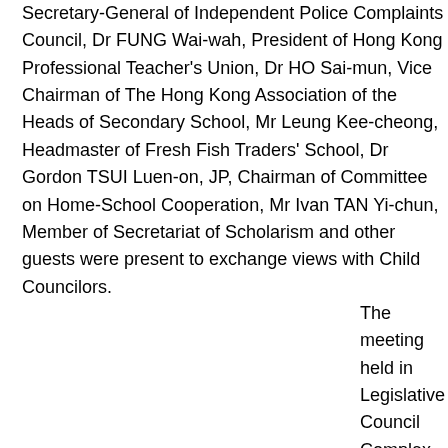Secretary-General of Independent Police Complaints Council, Dr FUNG Wai-wah, President of Hong Kong Professional Teacher's Union, Dr HO Sai-mun, Vice Chairman of The Hong Kong Association of the Heads of Secondary School, Mr Leung Kee-cheong, Headmaster of Fresh Fish Traders' School, Dr Gordon TSUI Luen-on, JP, Chairman of Committee on Home-School Cooperation, Mr Ivan TAN Yi-chun, Member of Secretariat of Scholarism and other guests were present to exchange views with Child Councilors.
The meeting held in Legislative Council Complex with reference to the rules and procedures of the Legislative Council. The 59 Child Councilors